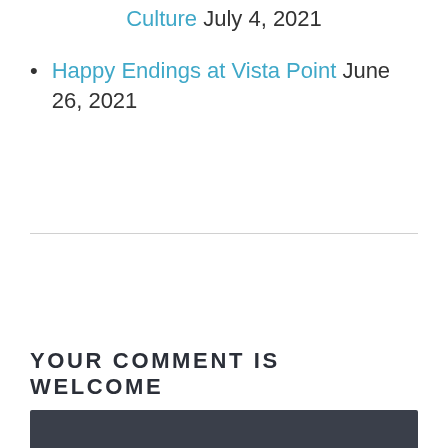Culture July 4, 2021
Happy Endings at Vista Point June 26, 2021
YOUR COMMENT IS WELCOME